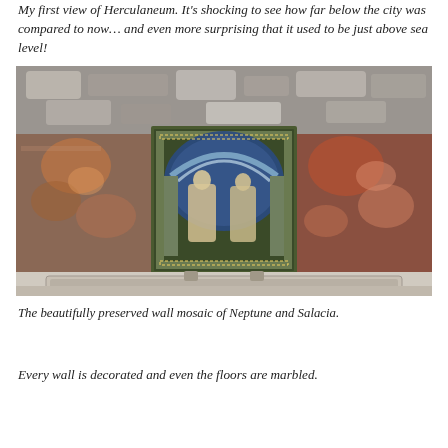My first view of Herculaneum. It's shocking to see how far below the city was compared to now… and even more surprising that it used to be just above sea level!
[Figure (photo): Interior of a preserved room at Herculaneum showing ancient Roman walls with colorful frescoes and a central ornate mosaic panel depicting Neptune and Salacia under a decorated arch, with a shallow basin or pool in the foreground and exposed stone walls above.]
The beautifully preserved wall mosaic of Neptune and Salacia.
Every wall is decorated and even the floors are marbled.